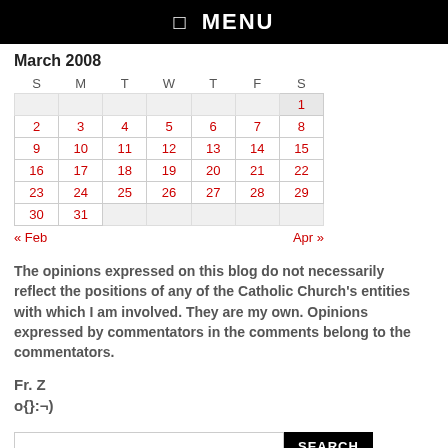☰ MENU
| S | M | T | W | T | F | S |
| --- | --- | --- | --- | --- | --- | --- |
|  |  |  |  |  |  | 1 |
| 2 | 3 | 4 | 5 | 6 | 7 | 8 |
| 9 | 10 | 11 | 12 | 13 | 14 | 15 |
| 16 | 17 | 18 | 19 | 20 | 21 | 22 |
| 23 | 24 | 25 | 26 | 27 | 28 | 29 |
| 30 | 31 |  |  |  |  |  |
« Feb	Apr »
The opinions expressed on this blog do not necessarily reflect the positions of any of the Catholic Church's entities with which I am involved. They are my own. Opinions expressed by commentators in the comments belong to the commentators.
Fr. Z
o{}:¬)